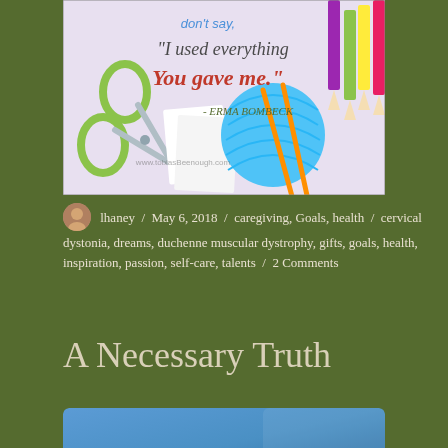[Figure (illustration): Illustrated image with scissors, knitting yarn, and colored pencils on a light purple background. Text reads: "I used everything You gave me." - Erma Bombeck. Watermark: www.tobiasBeenough.com]
lhaney / May 6, 2018 / caregiving, Goals, health / cervical dystonia, dreams, duchenne muscular dystrophy, gifts, goals, health, inspiration, passion, self-care, talents / 2 Comments
A Necessary Truth
[Figure (photo): Partial view of a blue sky gradient photo, cropped at the bottom of the page.]